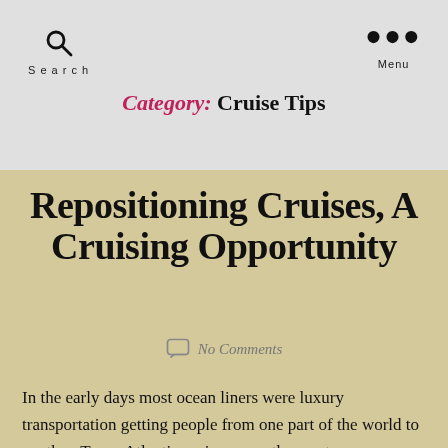Search   Menu
Category: Cruise Tips
Repositioning Cruises, A Cruising Opportunity
No Comments
In the early days most ocean liners were luxury transportation getting people from one part of the world to another. Trans-Atlantic cruises were the most